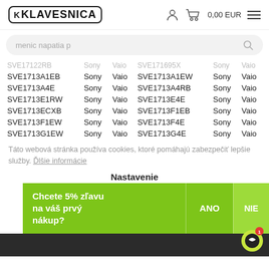KLAVESNICA — 0,00 EUR
menic napatia p
| SVE17122RB | Sony | Vaio | SVE171695X | Sony | Vaio |
| SVE1713A1EB | Sony | Vaio | SVE1713A1EW | Sony | Vaio |
| SVE1713A4E | Sony | Vaio | SVE1713A4RB | Sony | Vaio |
| SVE1713E1RW | Sony | Vaio | SVE1713E4E | Sony | Vaio |
| SVE1713ECXB | Sony | Vaio | SVE1713F1EB | Sony | Vaio |
| SVE1713F1EW | Sony | Vaio | SVE1713F4E | Sony | Vaio |
| SVE1713G1EW | Sony | Vaio | SVE1713G4E | Sony | Vaio |
Táto webová stránka používa cookies, ktoré pomáhajú zabezpečiť lepšie služby. Ďlšie informácie
Nastavenie
Chcete 5% zľavu na váš prvý nákup?
ANO
NIE